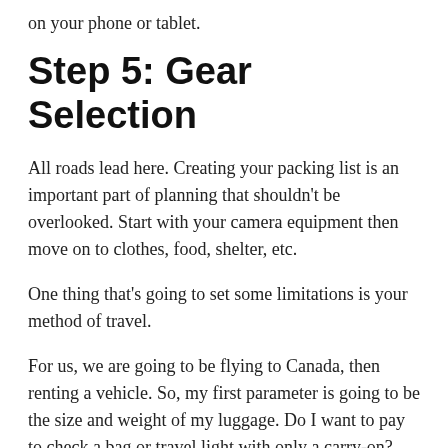on your phone or tablet.
Step 5: Gear Selection
All roads lead here. Creating your packing list is an important part of planning that shouldn't be overlooked. Start with your camera equipment then move on to clothes, food, shelter, etc.
One thing that's going to set some limitations is your method of travel.
For us, we are going to be flying to Canada, then renting a vehicle. So, my first parameter is going to be the size and weight of my luggage. Do I want to pay to check a bag or travel light with only a carry-on? Based on that decision I can start